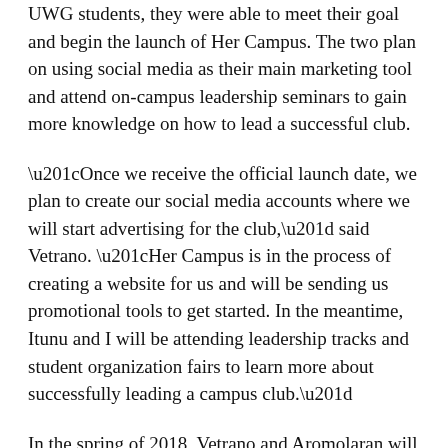UWG students, they were able to meet their goal and begin the launch of Her Campus. The two plan on using social media as their main marketing tool and attend on-campus leadership seminars to gain more knowledge on how to lead a successful club.
“Once we receive the official launch date, we plan to create our social media accounts where we will start advertising for the club,” said Vetrano. “Her Campus is in the process of creating a website for us and will be sending us promotional tools to get started. In the meantime, Itunu and I will be attending leadership tracks and student organization fairs to learn more about successfully leading a campus club.”
In the spring of 2018, Vetrano and Aromolaran will graduate from UWG and Her Campus will be passed onto another group of collegiate women who will take